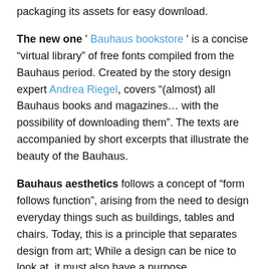packaging its assets for easy download.
The new one ' Bauhaus bookstore ' is a concise “virtual library” of free fonts compiled from the Bauhaus period. Created by the story design expert Andrea Riegel, covers “(almost) all Bauhaus books and magazines… with the possibility of downloading them”. The texts are accompanied by short excerpts that illustrate the beauty of the Bauhaus.
Bauhaus aesthetics follows a concept of “form follows function”, arising from the need to design everyday things such as buildings, tables and chairs. Today, this is a principle that separates design from art; While a design can be nice to look at, it must also have a purpose.
The trait is evident in ‘Bauhaus Bookshelf’, which shows downloads of Bauhaus books, advertisements, magazines and more.